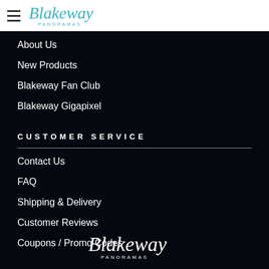Blakeway Panoramas (logo + hamburger menu)
About Us
New Products
Blakeway Fan Club
Blakeway Gigapixel
CUSTOMER SERVICE
Contact Us
FAQ
Shipping & Delivery
Customer Reviews
Coupons / Promo Codes
[Figure (logo): Blakeway Panoramas white footer logo]